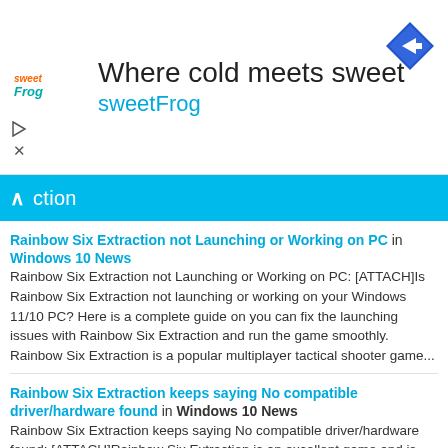[Figure (advertisement): sweetFrog frozen yogurt ad with logo, tagline 'Where cold meets sweet', and navigation arrow icon]
Rainbow Six Extraction not Launching or Working on PC in Windows 10 News
Rainbow Six Extraction not Launching or Working on PC: [ATTACH]Is Rainbow Six Extraction not launching or working on your Windows 11/10 PC? Here is a complete guide on you can fix the launching issues with Rainbow Six Extraction and run the game smoothly. Rainbow Six Extraction is a popular multiplayer tactical shooter game...
Rainbow Six Extraction keeps saying No compatible driver/hardware found in Windows 10 News
Rainbow Six Extraction keeps saying No compatible driver/hardware found: [ATTACH]Rainbow Six Extraction is an excellent game and is meant to work on all computers running Windows. However, a lot of users are saying that the game keeps crashing with the following error message- No compatible driver/hardware found. The problem is common and a lot of...